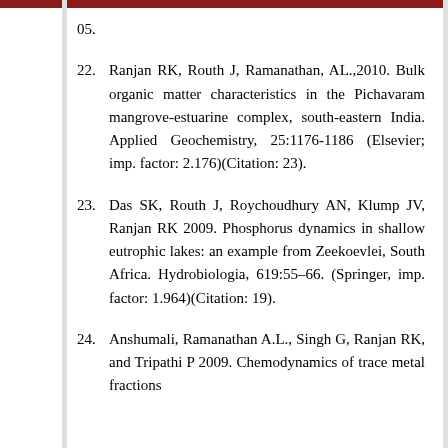05.
22. Ranjan RK, Routh J, Ramanathan, AL.,2010. Bulk organic matter characteristics in the Pichavaram mangrove-estuarine complex, south-eastern India. Applied Geochemistry, 25:1176-1186 (Elsevier; imp. factor: 2.176)(Citation: 23).
23. Das SK, Routh J, Roychoudhury AN, Klump JV, Ranjan RK 2009. Phosphorus dynamics in shallow eutrophic lakes: an example from Zeekoevlei, South Africa. Hydrobiologia, 619:55–66. (Springer, imp. factor: 1.964)(Citation: 19).
24. Anshumali, Ramanathan A.L., Singh G, Ranjan RK, and Tripathi P 2009. Chemodynamics of trace metal fractions